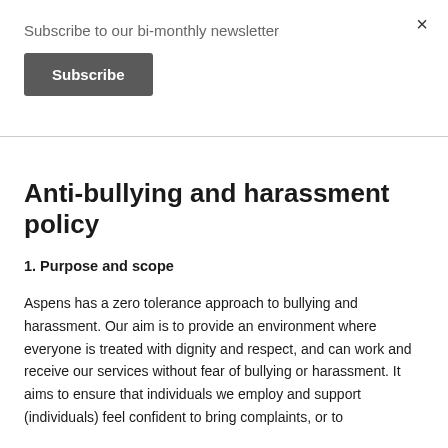Subscribe to our bi-monthly newsletter
Subscribe
×
Anti-bullying and harassment policy
1. Purpose and scope
Aspens has a zero tolerance approach to bullying and harassment. Our aim is to provide an environment where everyone is treated with dignity and respect, and can work and receive our services without fear of bullying or harassment. It aims to ensure that individuals we employ and support (individuals) feel confident to bring complaints, or to